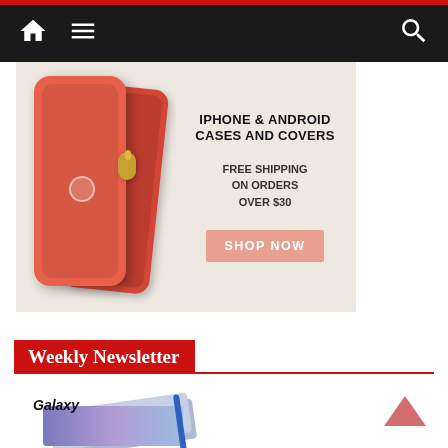Navigation bar with home, menu, and search icons
[Figure (infographic): Advertisement banner for iPhone & Android cases and covers. Shows two coral/red phone cases on left. Text reads: IPHONE & ANDROID CASES AND COVERS / FREE SHIPPING ON ORDERS OVER $30 / SHOP NOW button in salmon color.]
Weekly Newsletter
[Figure (photo): Samsung Galaxy Note 10/10+ product image showing stacked phones with stylus pen, with italic Galaxy and Note10 branding text overlay.]